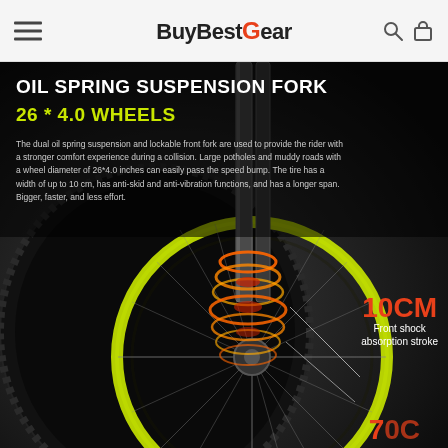BuyBestGear
OIL SPRING SUSPENSION FORK
26 * 4.0 WHEELS
The dual oil spring suspension and lockable front fork are used to provide the rider with a stronger comfort experience during a collision. Large potholes and muddy roads with a wheel diameter of 26*4.0 inches can easily pass the speed bump. The tire has a width of up to 10 cm, has anti-skid and anti-vibration functions, and has a longer span. Bigger, faster, and less effort.
[Figure (photo): Fat tire electric bike front fork/wheel close-up on dark background with neon green rim, glowing orange spring coil animation effect, with annotations showing 10CM front shock absorption stroke and 70CM measurement]
10CM Front shock absorption stroke